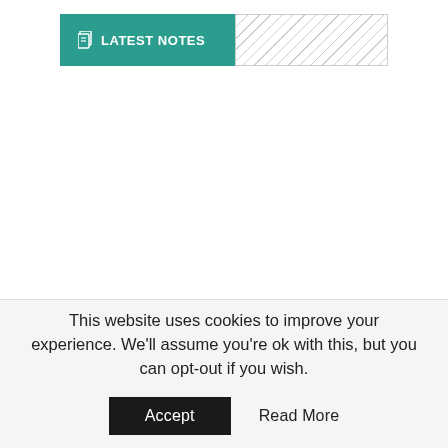LATEST NOTES
[Figure (other): Hatched/striped rectangular area placeholder next to the Latest Notes button]
This website uses cookies to improve your experience. We'll assume you're ok with this, but you can opt-out if you wish.
Accept   Read More